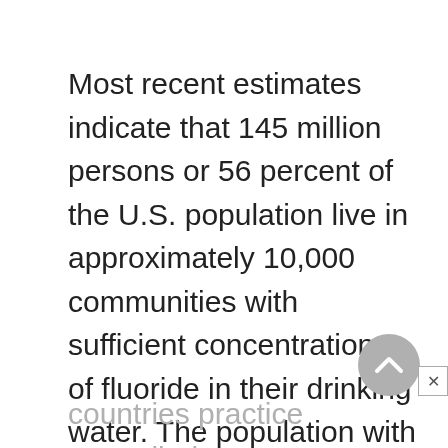Most recent estimates indicate that 145 million persons or 56 percent of the U.S. population live in approximately 10,000 communities with sufficient concentrations of fluoride in their drinking water. The population with fluoridated water as a percentage of those who live in areas with central water supplies is approximately 62 percent. At least 40
countries practice controlled water fluoridation...